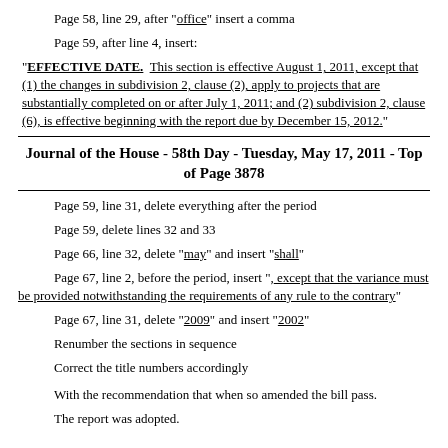Page 58, line 29, after "office" insert a comma
Page 59, after line 4, insert:
"EFFECTIVE DATE.  This section is effective August 1, 2011, except that (1) the changes in subdivision 2, clause (2), apply to projects that are substantially completed on or after July 1, 2011; and (2) subdivision 2, clause (6), is effective beginning with the report due by December 15, 2012."
Journal of the House - 58th Day - Tuesday, May 17, 2011 - Top of Page 3878
Page 59, line 31, delete everything after the period
Page 59, delete lines 32 and 33
Page 66, line 32, delete "may" and insert "shall"
Page 67, line 2, before the period, insert ", except that the variance must be provided notwithstanding the requirements of any rule to the contrary"
Page 67, line 31, delete "2009" and insert "2002"
Renumber the sections in sequence
Correct the title numbers accordingly
With the recommendation that when so amended the bill pass.
The report was adopted.